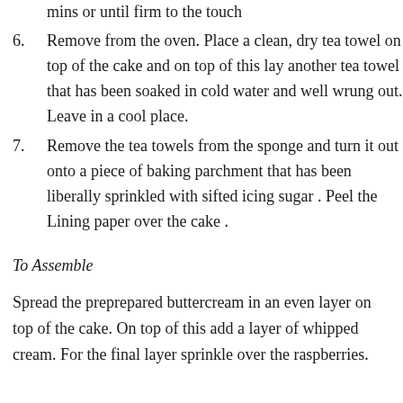mins or until firm to the touch
6. Remove from the oven. Place a clean, dry tea towel on top of the cake and on top of this lay another tea towel that has been soaked in cold water and well wrung out. Leave in a cool place.
7. Remove the tea towels from the sponge and turn it out onto a piece of baking parchment that has been liberally sprinkled with sifted icing sugar . Peel the Lining paper over the cake .
To Assemble
Spread the preprepared buttercream in an even layer on top of the cake. On top of this add a layer of whipped cream. For the final layer sprinkle over the raspberries.